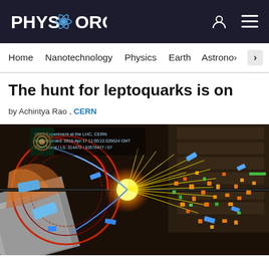PHYS.ORG
Home | Nanotechnology | Physics | Earth | Astronomy >
The hunt for leptoquarks is on
by Achintya Rao , CERN
[Figure (photo): CMS Experiment visualization at the LHC, CERN showing a particle collision event with colorful jets. Data recorded: 2018-Apr-17 11:00:22.026624 GMT, Run / Event / LS: 314472 / 83576477 / 67]